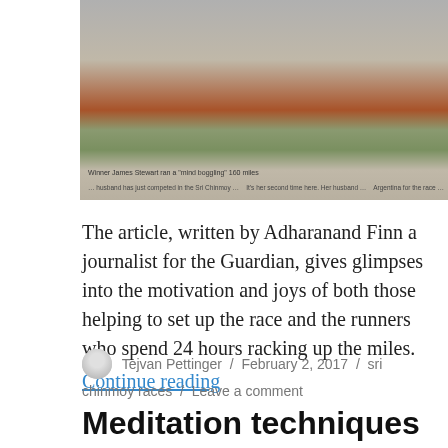[Figure (photo): Newspaper clipping showing a runner on a red running track, with text columns on either side describing race participants and their motivations. Caption reads: 'Winner James Stewart ran a "mind boggling" 160 miles']
The article, written by Adharanand Finn a journalist for the Guardian, gives glimpses into the motivation and joys of both those helping to set up the race and the runners who spend 24 hours racking up the miles.
Continue reading
Tejvan Pettinger / February 2, 2017 / sri chinmoy races / Leave a comment
Meditation techniques